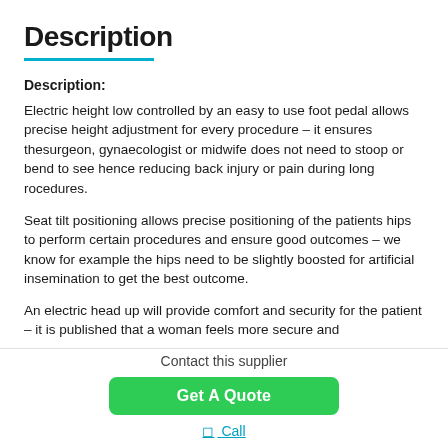Description
Description:
Electric height low controlled by an easy to use foot pedal allows precise height adjustment for every procedure – it ensures thesurgeon, gynaecologist or midwife does not need to stoop or bend to see hence reducing back injury or pain during long rocedures.
Seat tilt positioning allows precise positioning of the patients hips to perform certain procedures and ensure good outcomes – we know for example the hips need to be slightly boosted for artificial insemination to get the best outcome.
An electric head up will provide comfort and security for the patient – it is published that a woman feels more secure and
Contact this supplier
Get A Quote
Call